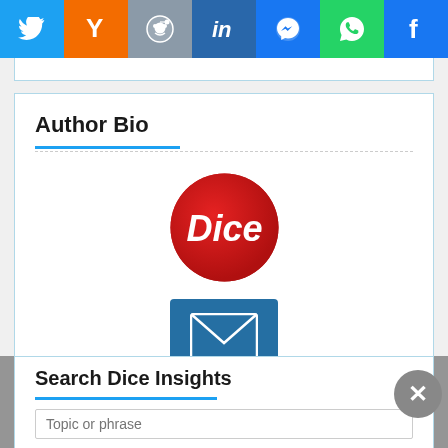[Figure (screenshot): Social sharing bar with icons for Twitter, Yahoo, Reddit, LinkedIn, Messenger, WhatsApp, and Facebook]
Author Bio
[Figure (logo): Dice red circular logo with italic white text 'Dice']
[Figure (logo): Blue square email/envelope icon]
Dice Staff
Search Dice Insights